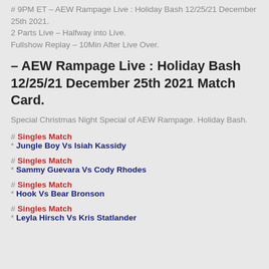# 9PM ET – AEW Rampage Live : Holiday Bash 12/25/21 December 25th 2021.
2 Parts Live – Halfway into Live.
Fullshow Replay – 10Min After Live Over.
– AEW Rampage Live : Holiday Bash 12/25/21 December 25th 2021 Match Card.
Special Christmas Night Special of AEW Rampage. Holiday Bash.
# Singles Match
* Jungle Boy Vs Isiah Kassidy
# Singles Match
* Sammy Guevara Vs Cody Rhodes
# Singles Match
* Hook Vs Bear Bronson
# Singles Match
* Leyla Hirsch Vs Kris Statlander